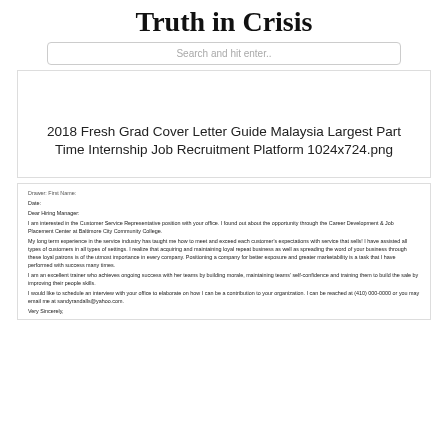Truth in Crisis
Search and hit enter..
2018 Fresh Grad Cover Letter Guide Malaysia Largest Part Time Internship Job Recruitment Platform 1024x724.png
Drawer: First Name:
Date:
Dear Hiring Manager:
I am interested in the Customer Service Representative position with your office. I found out about the opportunity through the Career Development & Job Placement Center at Baltimore City Community College.
My long term experience in the service industry has taught me how to meet and exceed each customer's expectations with service that sells! I have assisted all types of customers in all types of settings. I realize that acquiring and maintaining loyal repeat business as well as spreading the word of your business through these loyal patrons is of the utmost importance in every company. Positioning a company for better exposure and greater marketability is a task that I have performed with success many times.
I am an excellent trainer who achieves ongoing success with her teams by building morale, maintaining teams' self-confidence and training them to build the sale by improving their people skills.
I would like to schedule an interview with your office to elaborate on how I can be a contribution to your organization. I can be reached at (410) 000-0000 or you may email me at sandyrandalls@yahoo.com.
Very Sincerely,